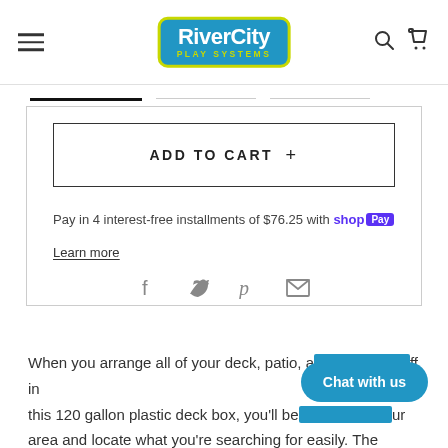[Figure (logo): RiverCity Play Systems logo — white text on blue rounded rectangle with yellow-green border]
ADD TO CART +
Pay in 4 interest-free installments of $76.25 with shop Pay
Learn more
[Figure (infographic): Social share icons: Facebook, Twitter, Pinterest, Email]
When you arrange all of your deck, patio, a...tuff in this 120 gallon plastic deck box, you'll be...ur area and locate what you're searching for easily. The woven